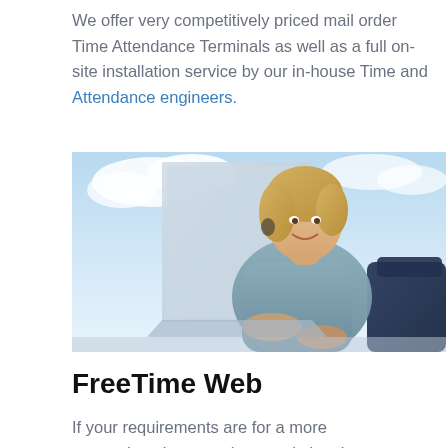We offer very competitively priced mail order Time Attendance Terminals as well as a full on-site installation service by our in-house Time and Attendance engineers.
[Figure (photo): A smiling woman with blonde hair sitting with a laptop computer, blue sky and clouds in the background.]
FreeTime Web
If your requirements are for a more comprehensive attendance solution then we recommend our Freetime